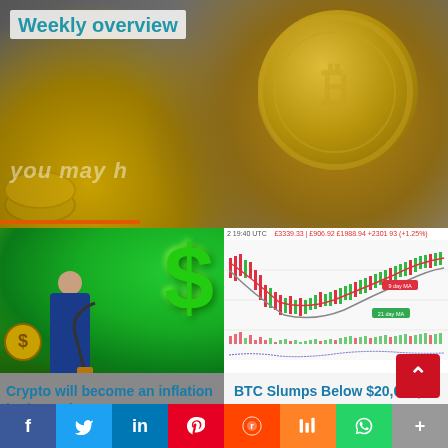Weekly overview
[Figure (photo): Background image of cryptocurrency coins including a large gold Bitcoin coin and silver coins]
[Figure (illustration): Left card image: man in blue suit pumping a large green dollar sign, with a gold coin to the left. Badge reads 'Trending Crypto news']
[Figure (line-chart): Right card image: candlestick/line chart showing BTC price movement with red and green candles and moving average lines. Badge reads 'Market Analysis']
Crypto will become an inflation hedge — just not yet
BTC Slumps Below $20,000; TAMA Pu... Up
[Figure (infographic): Social sharing bar with Facebook, Twitter, LinkedIn, Pinterest, Reddit, Mix, WhatsApp, and More buttons]